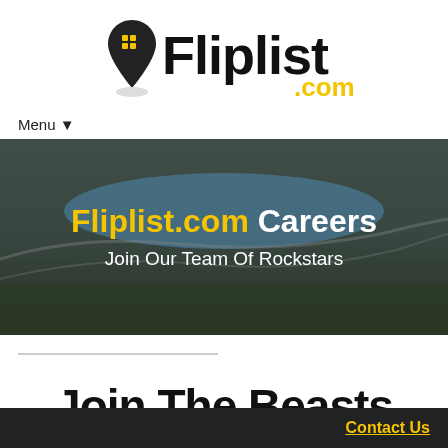[Figure (logo): Fliplist.com logo with map pin icon containing house symbol, black text 'Fliplist' and yellow '.com']
Menu ▼
[Figure (photo): Aerial view of a waterfront residential neighborhood with curved roads and houses, overlaid with text 'Fliplist.com Careers' and 'Join Our Team Of Rockstars']
Join The Beasts
Contact Us